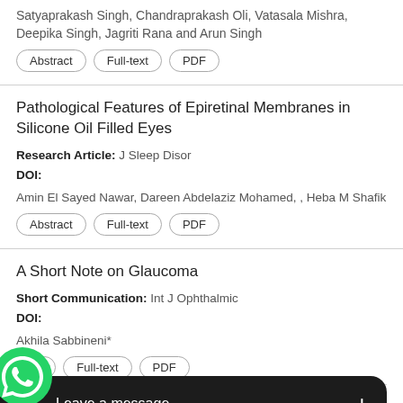Satyaprakash Singh, Chandraprakash Oli, Vatasala Mishra, Deepika Singh, Jagriti Rana and Arun Singh
Abstract | Full-text | PDF
Pathological Features of Epiretinal Membranes in Silicone Oil Filled Eyes
Research Article: J Sleep Disor
DOI:
Amin El Sayed Nawar, Dareen Abdelaziz Mohamed, , Heba M Shafik
Abstract | Full-text | PDF
A Short Note on Glaucoma
Short Communication: Int J Ophthalmic
DOI:
Akhila Sabbineni*
Abstract | Full-text | PDF
Bila d Cysts: A Rare Case Seri
[Figure (screenshot): WhatsApp 'Leave a message' overlay bar with green WhatsApp icon and dark message bar with plus button]